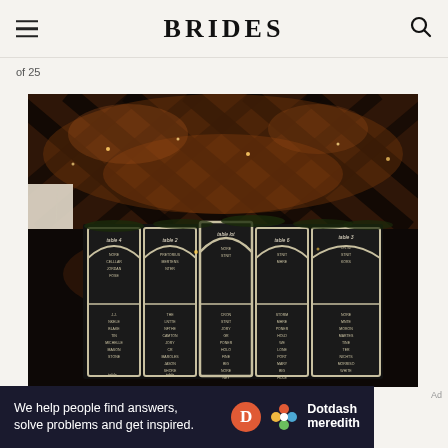BRIDES
of 25
[Figure (photo): Wedding seating chart displayed on vintage window panes with chalk writing listing table names and guest names, set inside a barn venue with wooden beam ceiling and string lights]
We help people find answers, solve problems and get inspired. Dotdash meredith